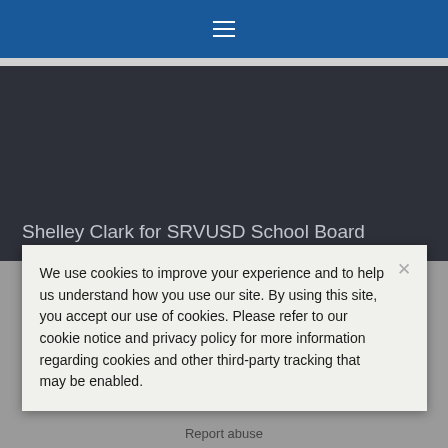≡
Shelley Clark for SRVUSD School Board
We use cookies to improve your experience and to help us understand how you use our site. By using this site, you accept our use of cookies. Please refer to our cookie notice and privacy policy for more information regarding cookies and other third-party tracking that may be enabled.
Report abuse